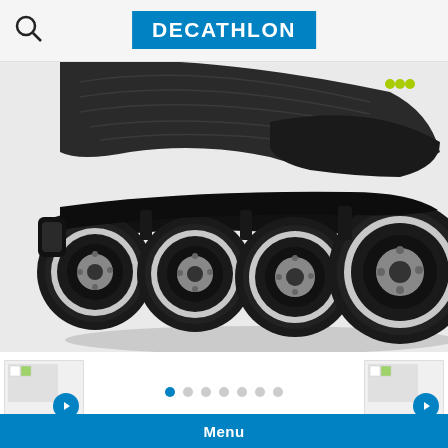DECATHLON
[Figure (photo): Close-up photo of inline skate wheels and frame on a white background, showing four black inline skate wheels with silver rims and a black plastic frame/boot.]
[Figure (photo): Thumbnail with video play button for product image 1]
[Figure (photo): Thumbnail with video play button for product image 2]
Made for
Comfortable liner, support and glide performance designed for beginners: now you're ready for discovering the pleasures of skating! MORE
Menu